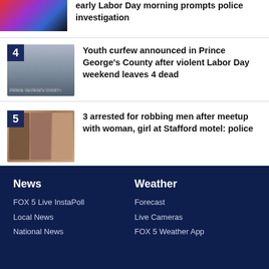[Figure (photo): Police lights blue and red, partial view at top]
early Labor Day morning prompts police investigation
[Figure (photo): Prince George's County police car]
Youth curfew announced in Prince George's County after violent Labor Day weekend leaves 4 dead
[Figure (photo): Three men facing camera, mugshot style]
3 arrested for robbing men after meetup with woman, girl at Stafford motel: police
News | FOX 5 Live InstaPoll | Local News | National News | Weather | Forecast | Live Cameras | FOX 5 Weather App